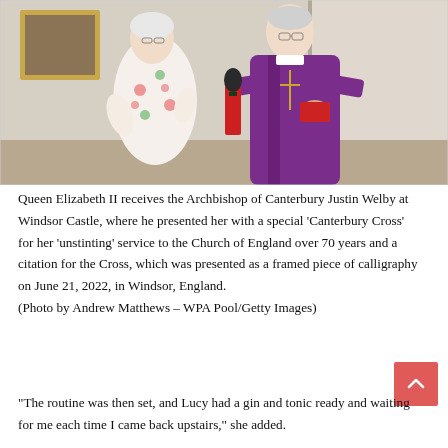[Figure (photo): Queen Elizabeth II in a floral dress speaking with Archbishop of Canterbury Justin Welby in purple robes, inside a formal room at Windsor Castle. A toy soldier figurine is visible in the background.]
Queen Elizabeth II receives the Archbishop of Canterbury Justin Welby at Windsor Castle, where he presented her with a special 'Canterbury Cross' for her 'unstinting' service to the Church of England over 70 years and a citation for the Cross, which was presented as a framed piece of calligraphy on June 21, 2022, in Windsor, England.
(Photo by Andrew Matthews – WPA Pool/Getty Images)
“The routine was then set, and Lucy had a gin and tonic ready and waiting for me each time I came back upstairs,” she added.